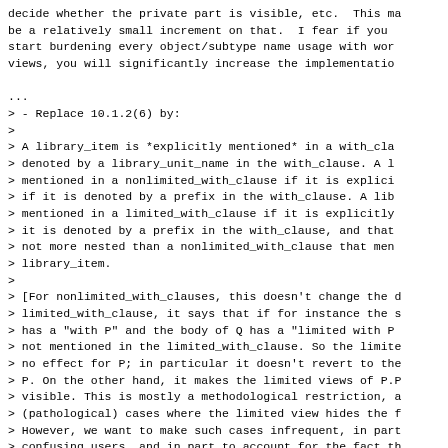decide whether the private part is visible, etc. This ma be a relatively small increment on that.  I fear if you start burdening every object/subtype name usage with wor views, you will significantly increase the implementatio
...
> - Replace 10.1.2(6) by:
>
> A library_item is *explicitly mentioned* in a with_cla > denoted by a library_unit_name in the with_clause. A l > mentioned in a nonlimited_with_clause if it is explici > if it is denoted by a prefix in the with_clause. A li > mentioned in a limited_with_clause if it is explicitly > it is denoted by a prefix in the with_clause, and tha > not more nested than a nonlimited_with_clause that men > library_item.
>
> [For nonlimited_with_clauses, this doesn't change the > limited_with_clause, it says that if for instance the > has a "with P" and the body of Q has a "limited with P > not mentioned in the limited_with_clause. So the limite > no effect for P; in particular it doesn't revert to th > P. On the other hand, it makes the limited views of P. > visible. This is mostly a methodological restriction, > (pathological) cases where the limited view hides the > However, we want to make such cases infrequent, in par > confusing users, and in part to account for the fact t > associated with "reverting" to a limited view may be a
I think we might be able to simplify this by talking abou